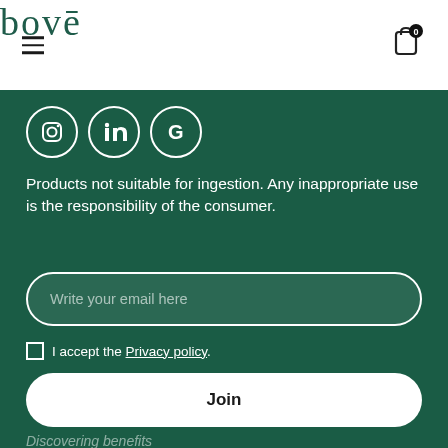bovē
[Figure (logo): Bove brand logo with macron over the e, dark green serif text, centered in white header nav bar with hamburger menu left and shopping cart icon right]
[Figure (infographic): Three social media circular icons: Instagram, LinkedIn, Google, white border on dark green background]
Products not suitable for ingestion. Any inappropriate use is the responsibility of the consumer.
Write your email here
I accept the Privacy policy.
Join
Discovering benefits